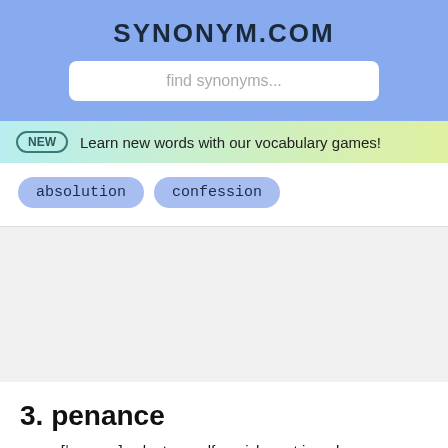SYNONYM.COM
find synonyms...
NEW  Learn new words with our vocabulary games!
absolution
confession
3. penance
noun  [ˈpɛnəns] voluntary self-punishment in order